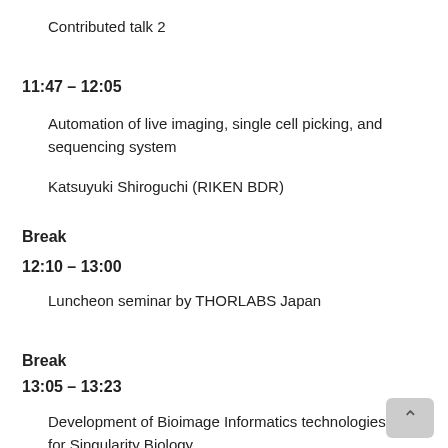Contributed talk 2
11:47 – 12:05
Automation of live imaging, single cell picking, and sequencing system
Katsuyuki Shiroguchi (RIKEN BDR)
Break
12:10 – 13:00
Luncheon seminar by THORLABS Japan
Break
13:05 – 13:23
Development of Bioimage Informatics technologies for Singularity Biology